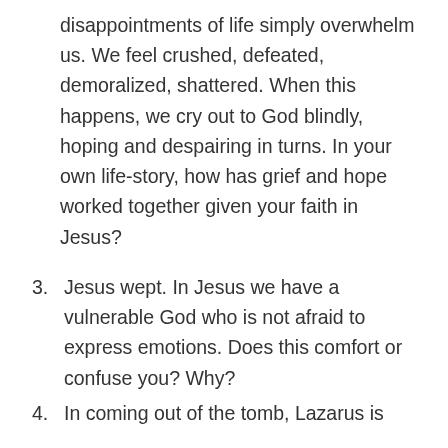disappointments of life simply overwhelm us. We feel crushed, defeated, demoralized, shattered. When this happens, we cry out to God blindly, hoping and despairing in turns. In your own life-story, how has grief and hope worked together given your faith in Jesus?
3. Jesus wept. In Jesus we have a vulnerable God who is not afraid to express emotions. Does this comfort or confuse you? Why?
4. In coming out of the tomb, Lazarus is